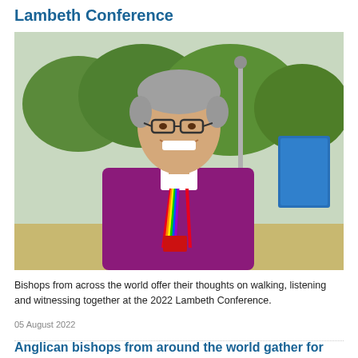Lambeth Conference
[Figure (photo): Smiling bishop wearing purple vestments and a rainbow lanyard, standing outdoors with trees and a blue information sign in the background.]
Bishops from across the world offer their thoughts on walking, listening and witnessing together at the 2022 Lambeth Conference.
05 August 2022
Anglican bishops from around the world gather for the 15th Lambeth Conference